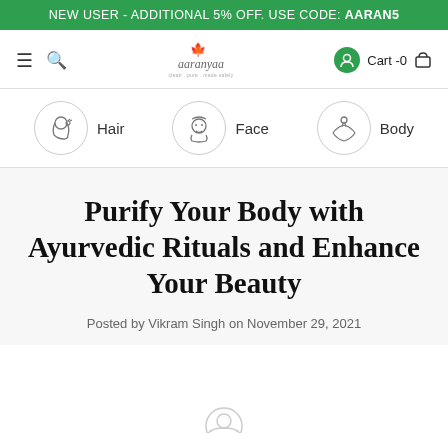NEW USER - ADDITIONAL 5% OFF. USE CODE: AARAN5
[Figure (logo): Aaranyaa brand logo with maple leaf and tagline]
Hair
Face
Body
Purify Your Body with Ayurvedic Rituals and Enhance Your Beauty
Posted by Vikram Singh on November 29, 2021